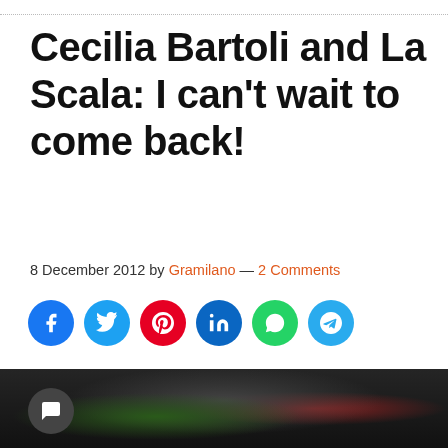Cecilia Bartoli and La Scala: I can't wait to come back!
8 December 2012 by Gramilano — 2 Comments
[Figure (screenshot): Row of social media share buttons: Facebook, Twitter, Pinterest, LinkedIn, WhatsApp, Telegram]
[Figure (photo): Orchestra musicians on stage at La Scala, woman in green dress and conductor in foreground, musicians with instruments in background, red seats visible]